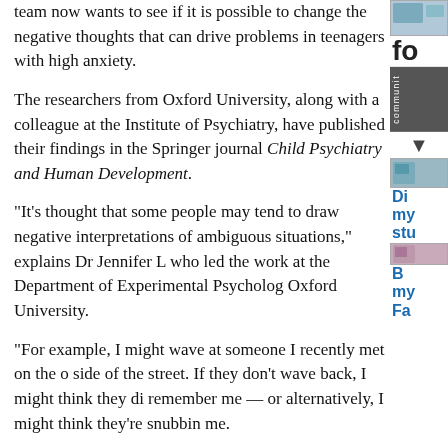team now wants to see if it is possible to change the negative thoughts that can drive problems in teenagers with high anxiety.
The researchers from Oxford University, along with a colleague at the Institute of Psychiatry, have published their findings in the Springer journal Child Psychiatry and Human Development.
“It’s thought that some people may tend to draw negative interpretations of ambiguous situations,” explains Dr Jennifer L who led the work at the Department of Experimental Psychology Oxford University.
“For example, I might wave at someone I recently met on the o side of the street. If they don’t wave back, I might think they di remember me — or alternatively, I might think they’re snubbing me.
“People with anxiety are more likely to assume the latter interpretation. These negative thoughts are believed to drive and maintain their feelings of low mood and anxiety. If you can cha that negative style of thinking, perhaps you can change mood in anxious teenagers.”
Adolescence appears to be a general period of vulnerability whe problems with anxiety and depression can first emerge, and nev